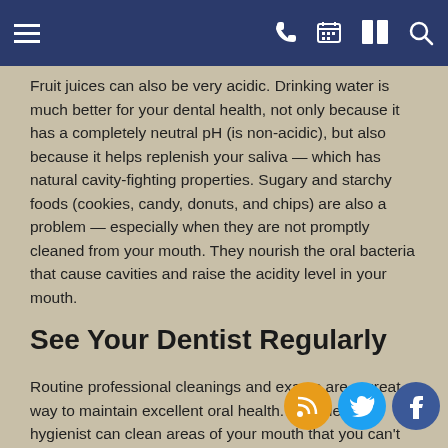[navigation bar with hamburger menu, phone, calendar, map, and search icons]
Fruit juices can also be very acidic. Drinking water is much better for your dental health, not only because it has a completely neutral pH (is non-acidic), but also because it helps replenish your saliva — which has natural cavity-fighting properties. Sugary and starchy foods (cookies, candy, donuts, and chips) are also a problem — especially when they are not promptly cleaned from your mouth. They nourish the oral bacteria that cause cavities and raise the acidity level in your mouth.
See Your Dentist Regularly
Routine professional cleanings and exams are a great way to maintain excellent oral health. Your dental hygienist can clean areas of your mouth that you can't reach with your toothbrush or even with floss. We can check for early signs of tooth decay and take prompt action. What's more, we can recommend specific preventive treatments if you are particularly prone to cavities. These include in-office fluoride treatments and dental sealants, both of which are quick, easy and effective procedures. Special mouthrinses might also be recommended. Working together, we can make sure your oral hygiene routine is all it should be and that